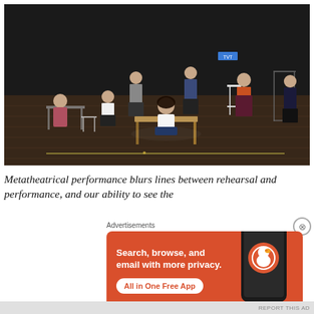[Figure (photo): Theatre stage with several actors in various positions — some standing, some seated on chairs or on the floor. The stage is dark with wooden flooring. There is a small wooden platform structure in the center with a person sitting on it in a white top and jeans. Other actors are distributed across the stage with minimal set pieces including chairs and clothing racks.]
Metatheatrical performance blurs lines between rehearsal and performance, and our ability to see the
Advertisements
[Figure (infographic): DuckDuckGo advertisement on orange background. Text: 'Search, browse, and email with more privacy. All in One Free App' with DuckDuckGo logo and a smartphone graphic.]